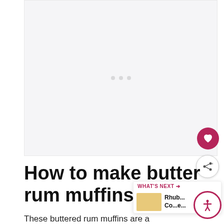[Figure (photo): Large light grey placeholder image area with three small dots in the center]
How to make butter rum muffins
These buttered rum muffins are a